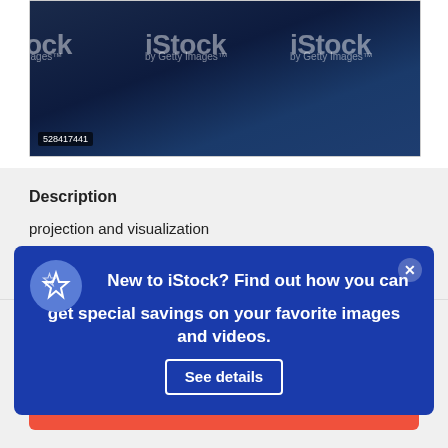[Figure (screenshot): iStock by Getty Images watermarked photo preview showing dark blue abstract background with multiple iStock watermarks and image ID 528417441]
Description
projection and visualization
[Figure (screenshot): Blue promotional popup overlay: 'New to iStock? Find out how you can get special savings on your favorite images and videos. See details' with close button]
$12 | 1 credit
Download this image